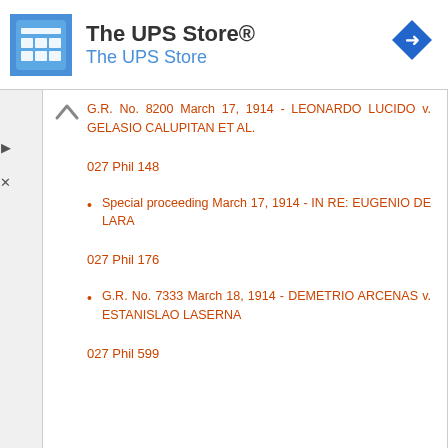[Figure (logo): The UPS Store advertisement banner with store icon and blue arrow navigation icon]
G.R. No. 8200 March 17, 1914 - LEONARDO LUCIDO v. GELASIO CALUPITAN ET AL.
027 Phil 148
Special proceeding March 17, 1914 - IN RE: EUGENIO DE LARA
027 Phil 176
G.R. No. 7333 March 18, 1914 - DEMETRIO ARCENAS v. ESTANISLAO LASERNA
027 Phil 599